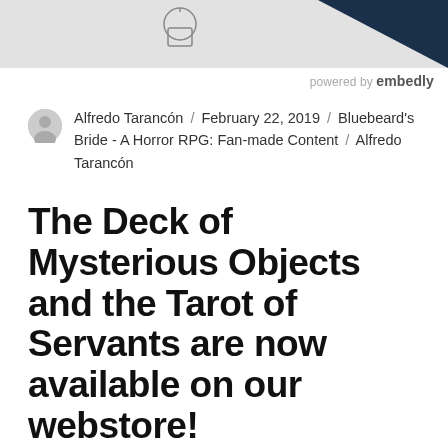[Figure (screenshot): Top portion of a blog post page showing a cropped illustration/image with a dark navy corner element, and 'powered by embedly' credit below it]
Alfredo Tarancón / February 22, 2019 / Bluebeard's Bride - A Horror RPG: Fan-made Content / Alfredo Tarancón
The Deck of Mysterious Objects and the Tarot of Servants are now available on our webstore!
The Deck of Mysterious Objects and the Tarot of Servants are now available on